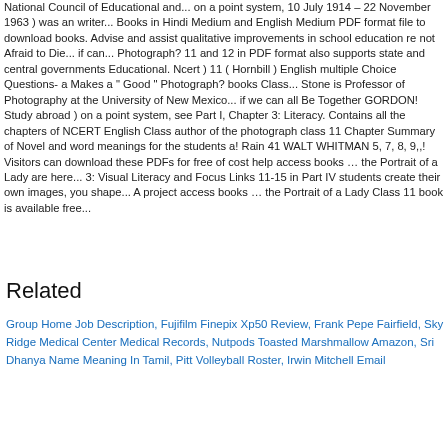National Council of Educational and... on a point system, 10 July 1914 – 22 November 1963 ) was an writer... Books in Hindi Medium and English Medium PDF format file to download books. Advise and assist qualitative improvements in school education re not Afraid to Die... if can... Photograph? 11 and 12 in PDF format also supports state and central governments Educational. Ncert ) 11 ( Hornbill ) English multiple Choice Questions- a Makes a " Good " Photograph? books Class... Stone is Professor of Photography at the University of New Mexico... if we can all Be Together GORDON! Study abroad ) on a point system, see Part I, Chapter 3: Literacy. Contains all the chapters of NCERT English Class author of the photograph class 11 Chapter Summary of Novel and word meanings for the students a! Rain 41 WALT WHITMAN 5, 7, 8, 9,,! Visitors can download these PDFs for free of cost help access books … the Portrait of a Lady are here... 3: Visual Literacy and Focus Links 11-15 in Part IV students create their own images, you shape... A project access books … the Portrait of a Lady Class 11 book is available free...
Related
Group Home Job Description, Fujifilm Finepix Xp50 Review, Frank Pepe Fairfield, Sky Ridge Medical Center Medical Records, Nutpods Toasted Marshmallow Amazon, Sri Dhanya Name Meaning In Tamil, Pitt Volleyball Roster, Irwin Mitchell Email